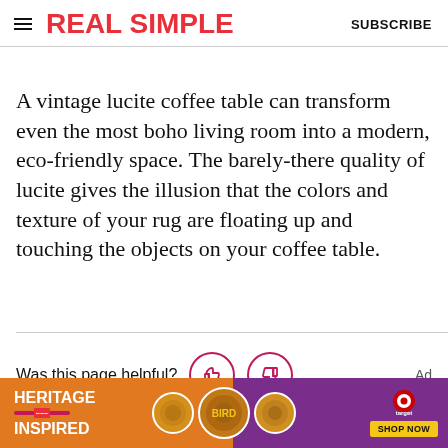REAL SIMPLE | SUBSCRIBE
A vintage lucite coffee table can transform even the most boho living room into a modern, eco-friendly space. The barely-there quality of lucite gives the illusion that the colors and texture of your rug are floating up and touching the objects on your coffee table.
Was this page helpful?
[Figure (infographic): Heritage Inspired advertisement banner for Target featuring product images and a Shop Now button]